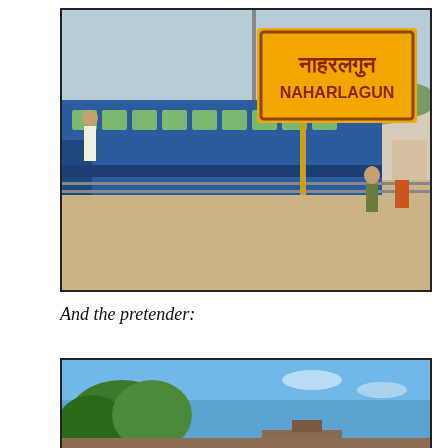[Figure (photo): Indian railway station platform with a blue passenger train. A large yellow station sign reads 'नाहरलगुन / NAHARLAGUN' in brown text. Several people stand near the sign on a sandy platform area. The train has green window bars on blue carriages.]
And the pretender:
[Figure (photo): Outdoor scene with bright blue sky, green trees and some structures partially visible at the bottom of the frame.]